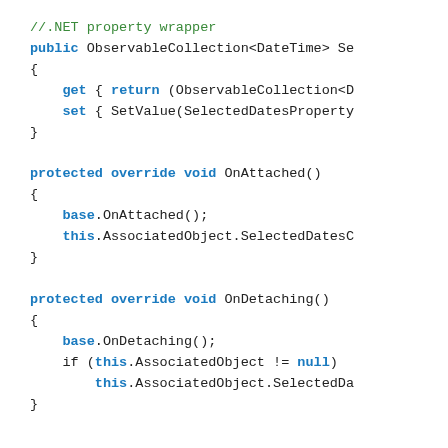//.NET property wrapper
public ObservableCollection<DateTime> Se
{
    get { return (ObservableCollection<D
    set { SetValue(SelectedDatesProperty
}

protected override void OnAttached()
{
    base.OnAttached();
    this.AssociatedObject.SelectedDatesC
}

protected override void OnDetaching()
{
    base.OnDetaching();
    if (this.AssociatedObject != null)
        this.AssociatedObject.SelectedDa
}


private void OnCalendarSelectedDatesChan
{
    if (e.AddedItems != null && e.Added:
    {